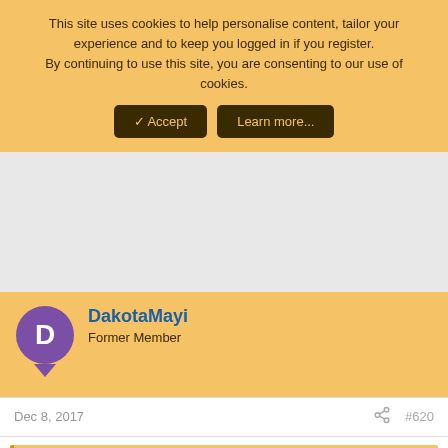This site uses cookies to help personalise content, tailor your experience and to keep you logged in if you register. By continuing to use this site, you are consenting to our use of cookies.
Accept | Learn more...
[Figure (other): Gray advertisement placeholder area]
DakotaMayi
Former Member
Dec 8, 2017
#620
pg_cocker said: ↑